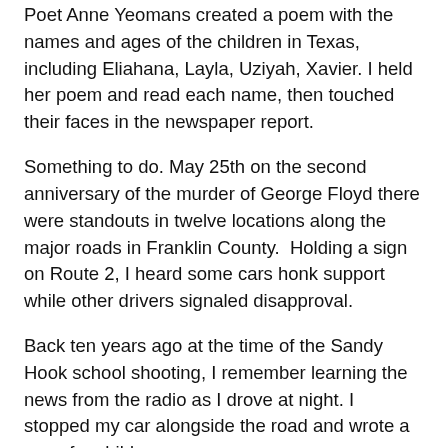Poet Anne Yeomans created a poem with the names and ages of the children in Texas, including Eliahana, Layla, Uziyah, Xavier. I held her poem and read each name, then touched their faces in the newspaper report.
Something to do. May 25th on the second anniversary of the murder of George Floyd there were standouts in twelve locations along the major roads in Franklin County.  Holding a sign on Route 2, I heard some cars honk support while other drivers signaled disapproval.
Back ten years ago at the time of the Sandy Hook school shooting, I remember learning the news from the radio as I drove at night. I stopped my car alongside the road and wrote a song for children